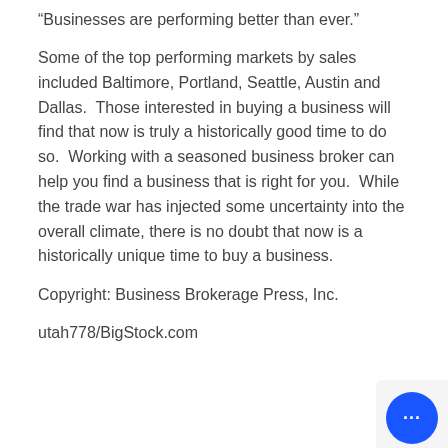“Businesses are performing better than ever.”
Some of the top performing markets by sales included Baltimore, Portland, Seattle, Austin and Dallas.  Those interested in buying a business will find that now is truly a historically good time to do so.  Working with a seasoned business broker can help you find a business that is right for you.  While the trade war has injected some uncertainty into the overall climate, there is no doubt that now is a historically unique time to buy a business.
Copyright: Business Brokerage Press, Inc.
utah778/BigStock.com